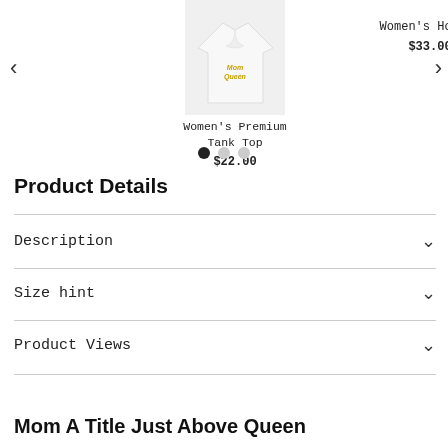[Figure (photo): Product carousel showing Women's Premium Tank Top at $22.00 on the left and Women's Hoodie at $33.00 on the right, with left/right navigation arrows and three pagination dots (first dot filled black, two grey).]
Product Details
Description
Size hint
Product Views
Mom A Title Just Above Queen